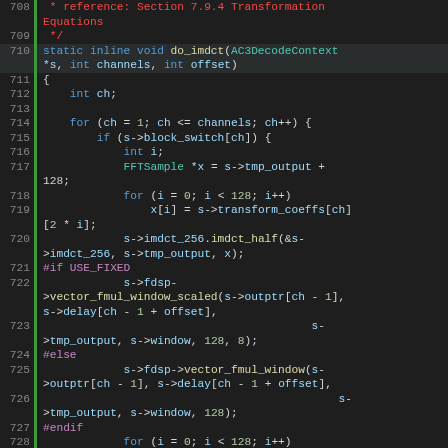Source code viewer showing lines 708-730 of an AC3 audio decoder C implementation, featuring the do_imdct function with conditional USE_FIXED preprocessor directives and vector window multiplication calls.